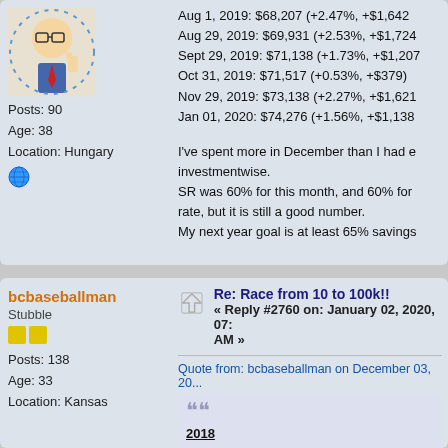Posts: 90
Age: 38
Location: Hungary
Aug 1, 2019: $68,207 (+2.47%, +$1,642)
Aug 29, 2019: $69,931 (+2.53%, +$1,724)
Sept 29, 2019: $71,138 (+1.73%, +$1,207)
Oct 31, 2019: $71,517 (+0.53%, +$379)
Nov 29, 2019: $73,138 (+2.27%, +$1,621)
Jan 01, 2020: $74,276 (+1.56%, +$1,138)
I've spent more in December than I had e... investmentwise.
SR was 60% for this month, and 60% for... rate, but it is still a good number.
My next year goal is at least 65% savings...
bcbaseballman
Stubble
Posts: 138
Age: 33
Location: Kansas
Re: Race from 10 to 100k!!
« Reply #2760 on: January 02, 2020, 07:... AM »
Quote from: bcbaseballman on December 03, 20...

2018
1/31 : (5949.05)
2/28 : (5288.30)
3/31 : (4273.93)
4/30 : (2592.07)
5/31 : (629.70)